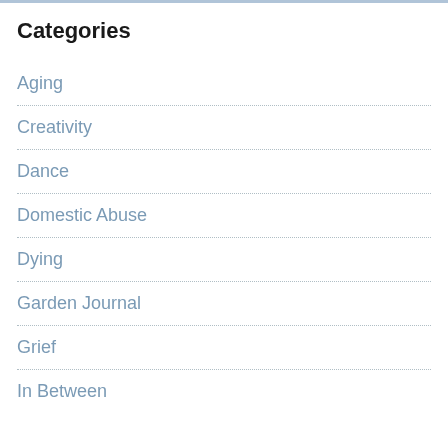Categories
Aging
Creativity
Dance
Domestic Abuse
Dying
Garden Journal
Grief
In Between